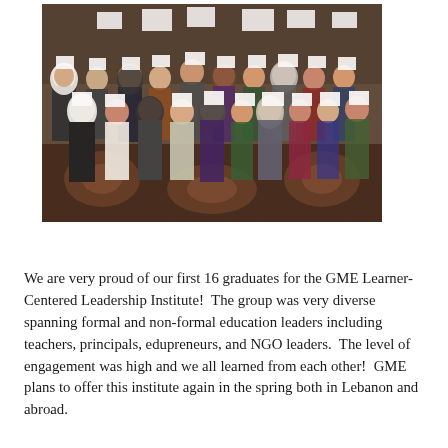[Figure (photo): Group photo of approximately 25 people, mostly women, standing in a hotel/conference room holding up white certificates or papers. Some participants are wearing hijabs. The room has a patterned carpet and dark wood paneling.]
We are very proud of our first 16 graduates for the GME Learner-Centered Leadership Institute!  The group was very diverse spanning formal and non-formal education leaders including teachers, principals, edupreneurs, and NGO leaders.  The level of engagement was high and we all learned from each other!  GME plans to offer this institute again in the spring both in Lebanon and abroad.